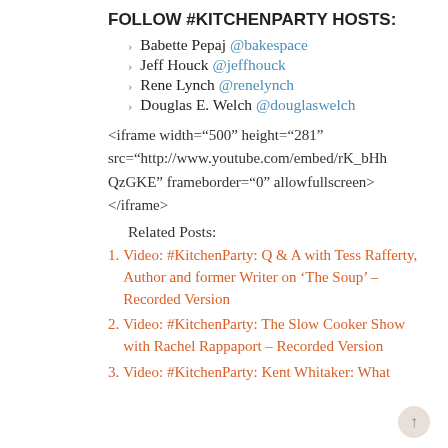FOLLOW #KITCHENPARTY HOSTS:
Babette Pepaj @bakespace
Jeff Houck @jeffhouck
Rene Lynch @renelynch
Douglas E. Welch @douglaswelch
<iframe width="500" height="281" src="http://www.youtube.com/embed/rK_bHhQzGKE" frameborder="0" allowfullscreen></iframe>
Related Posts:
Video: #KitchenParty: Q & A with Tess Rafferty, Author and former Writer on ‘The Soup’ – Recorded Version
Video: #KitchenParty: The Slow Cooker Show with Rachel Rappaport – Recorded Version
Video: #KitchenParty: Kent Whitaker: What